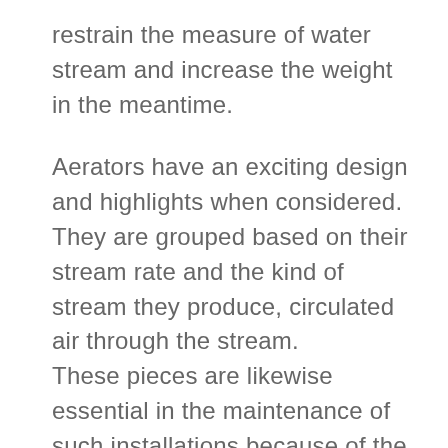restrain the measure of water stream and increase the weight in the meantime.
Aerators have an exciting design and highlights when considered. They are grouped based on their stream rate and the kind of stream they produce, circulated air through the stream. These pieces are likewise essential in the maintenance of such installations because of the mineral estimations of neighborhood waters.
Kitchen Faucet aerators comprise of three